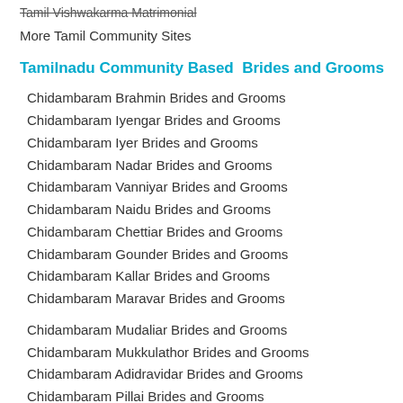Tamil Vishwakarma Matrimonial
More Tamil Community Sites
Tamilnadu Community Based  Brides and Grooms
Chidambaram Brahmin Brides and Grooms
Chidambaram Iyengar Brides and Grooms
Chidambaram Iyer Brides and Grooms
Chidambaram Nadar Brides and Grooms
Chidambaram Vanniyar Brides and Grooms
Chidambaram Naidu Brides and Grooms
Chidambaram Chettiar Brides and Grooms
Chidambaram Gounder Brides and Grooms
Chidambaram Kallar Brides and Grooms
Chidambaram Maravar Brides and Grooms
Chidambaram Mudaliar Brides and Grooms
Chidambaram Mukkulathor Brides and Grooms
Chidambaram Adidravidar Brides and Grooms
Chidambaram Pillai Brides and Grooms
Chidambaram Naicker Brides and Grooms
Chidambaram Reddiar Brides and Grooms